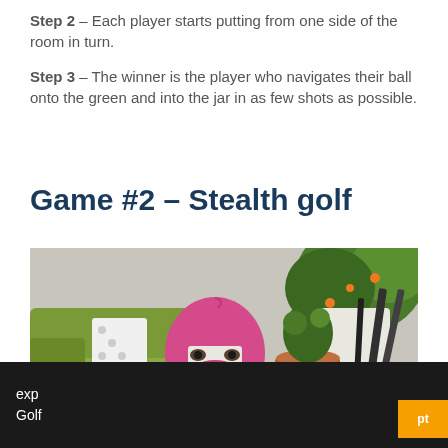Step 2 – Each player starts putting from one side of the room in turn.
Step 3 – The winner is the player who navigates their ball onto the green and into the jar in as few shots as possible.
Game #2 – Stealth golf
[Figure (photo): A child wearing a pink balaclava/ski mask peering over a green sofa, with a plant and golf clubs visible in the background.]
exp... Golf...pt